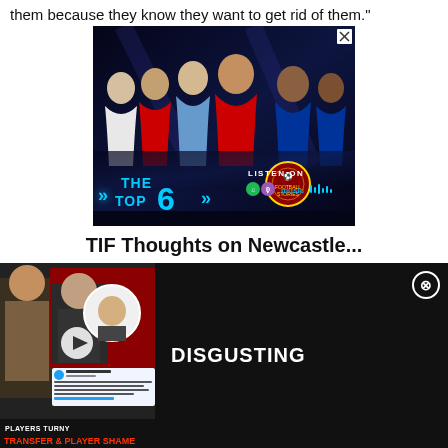them because they know they want to get rid of them."
[Figure (photo): Advertisement for 'The Top 6' football podcast featuring Premier League players (including Harry Kane, Cristiano Ronaldo, Kevin De Bruyne, Mohamed Salah, Romelu Lukaku and others) with neon blue text 'THE TOP 6' and listen on Spotify, Podcasts, Amazon Music icons]
TIF Thoughts on Newcastle...
[Figure (screenshot): Video thumbnail showing a presenter alongside images of Erik ten Hag and another person in a circle overlay, with text 'PLAYERS TURNY' and 'TRANSFER & PLAYER SHAME' on a dark background with embedded tweet screenshot]
DISGUSTING